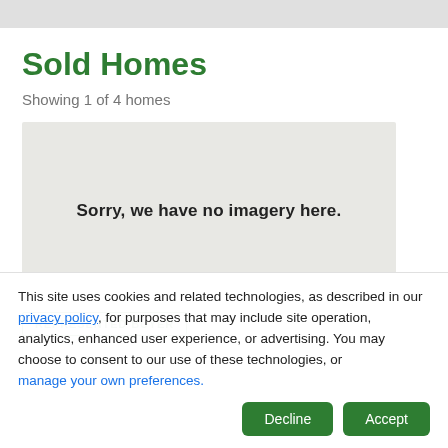Sold Homes
Showing 1 of 4 homes
[Figure (map): Map placeholder showing 'Sorry, we have no imagery here.']
REPRESENTED BUYER
This site uses cookies and related technologies, as described in our privacy policy, for purposes that may include site operation, analytics, enhanced user experience, or advertising. You may choose to consent to our use of these technologies, or manage your own preferences.